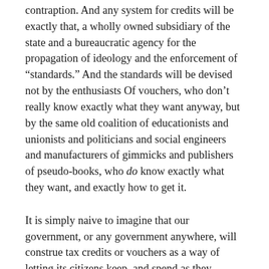contraption. And any system for credits will be exactly that, a wholly owned subsidiary of the state and a bureaucratic agency for the propagation of ideology and the enforcement of “standards.” And the standards will be devised not by the enthusiasts Of vouchers, who don’t really know exactly what they want anyway, but by the same old coalition of educationists and unionists and politicians and social engineers and manufacturers of gimmicks and publishers of pseudo-books, who do know exactly what they want, and exactly how to get it.
It is simply naive to imagine that our government, or any government anywhere, will construe tax credits or vouchers as a way of letting its citizens keep, and spend as they please, some of their own money. Such devices will be thought of as “subsidies,” and loftily denounced, especially by those whose livelihoods depend entirely on perpetual subsidization of the public schools, their pandemic problems, and their Byzantine and costly governance, as “handouts” of